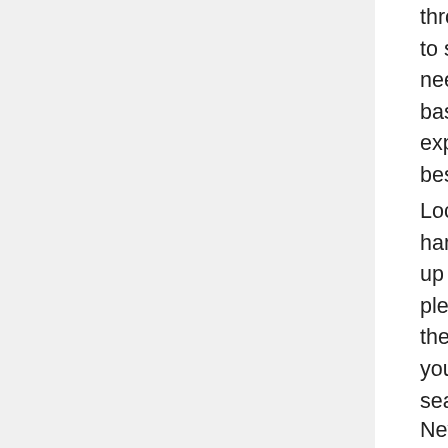throughout the evening? What allows you to show your treasured assets? Without the need of pieces of furniture, homes will be basic and vacant. This short article will explain to you how to consider the very best parts available.
Locating cost-free furniture is much less hard as you consider. Many people get fed up with their furnishings and do not have plenty of space to store the furniture pieces they actually do not use any further. Permit your friends and relatives know you are searching for household furniture and view totally free advertisements on the web.
Never ever go inexpensive on the bed